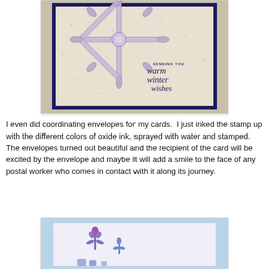[Figure (photo): A handmade greeting card with a large purple/lavender glittery snowflake die-cut on a speckled beige background with a navy blue border. Text on the card reads 'SENDING YOU warm winter wishes' in cursive and print lettering.]
I even did coordinating envelopes for my cards.  I just inked the stamp up with the different colors of oxide ink, sprayed with water and stamped.  The envelopes turned out beautiful and the recipient of the card will be excited by the envelope and maybe it will add a smile to the face of any postal worker who comes in contact with it along its journey.
[Figure (photo): A white envelope with a stamped purple and blue floral/snowflake design near the bottom left area, on a light blue background.]